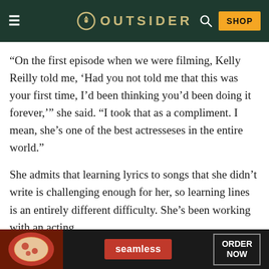OUTSIDER
“On the first episode when we were filming, Kelly Reilly told me, ‘Had you not told me that this was your first time, I’d been thinking you’d been doing it forever,’” she said. “I took that as a compliment. I mean, she’s one of the best actresseses in the entire world.”
She admits that learning lyrics to songs that she didn’t write is challenging enough for her, so learning lines is an entirely different difficulty. She’s been working with an acting
[Figure (other): Seamless food delivery advertisement banner showing pizza image on left, Seamless logo in red center, and ORDER NOW button on right, against dark background]